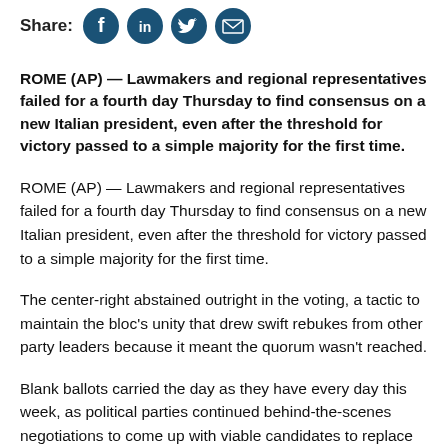Share: [Facebook] [LinkedIn] [Twitter] [Email]
ROME (AP) — Lawmakers and regional representatives failed for a fourth day Thursday to find consensus on a new Italian president, even after the threshold for victory passed to a simple majority for the first time.
ROME (AP) — Lawmakers and regional representatives failed for a fourth day Thursday to find consensus on a new Italian president, even after the threshold for victory passed to a simple majority for the first time.
The center-right abstained outright in the voting, a tactic to maintain the bloc's unity that drew swift rebukes from other party leaders because it meant the quorum wasn't reached.
Blank ballots carried the day as they have every day this week, as political parties continued behind-the-scenes negotiations to come up with viable candidates to replace